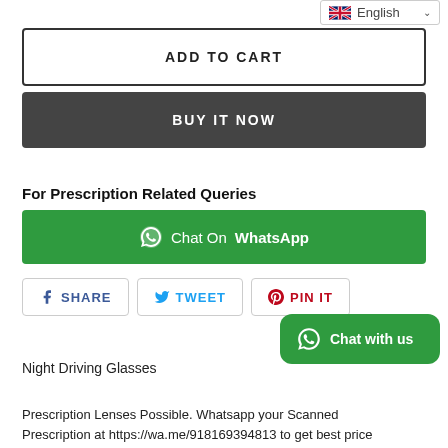English (language selector)
ADD TO CART
BUY IT NOW
For Prescription Related Queries
Chat On WhatsApp
SHARE   TWEET   PIN IT
Chat with us
Night Driving Glasses
Prescription Lenses Possible. Whatsapp your Scanned Prescription at https://wa.me/918169394813 to get best price